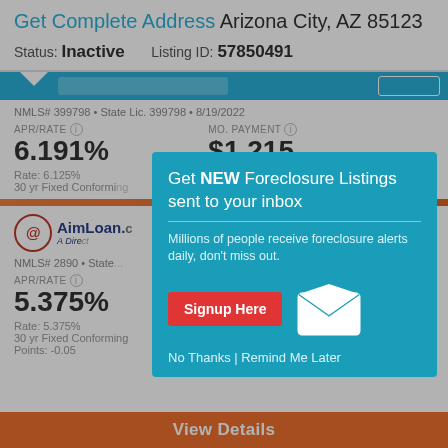Get Complete Address Arizona City, AZ 85123
Status: Inactive   Listing ID: 57850491
NMLS# 399798 • State Lic. 399798 • 8/19/2022
APR/RATE: 6.191%   MO. PAYMENT: $1,215
Rate: 6.125%
30 yr Fixed Conforming
[Figure (screenshot): AimLoan lender logo with circular icon]
NMLS# 2890 • State
APR/RATE: 5.375%
Rate: 5.375%
30 yr Fixed Conforming
Points: -0.05
Get NEW Foreclosure Listings sent to your inbox
Millions of people receive foreclosure alerts daily, don't miss out.
Signup Here
No Thanks | Remind Me Later
View Details